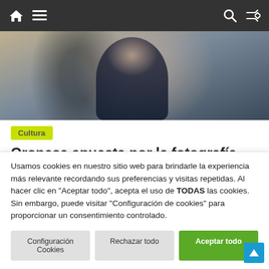Navigation bar with home, menu, search, and shuffle icons
[Figure (photo): Photo of a young woman in a dark jacket photographing outdoors]
Cultura
Oropesa apuesta por la fotografía, idiomas y deporte para los jóvenes
Usamos cookies en nuestro sitio web para brindarle la experiencia más relevante recordando sus preferencias y visitas repetidas. Al hacer clic en "Aceptar todo", acepta el uso de TODAS las cookies. Sin embargo, puede visitar "Configuración de cookies" para proporcionar un consentimiento controlado.